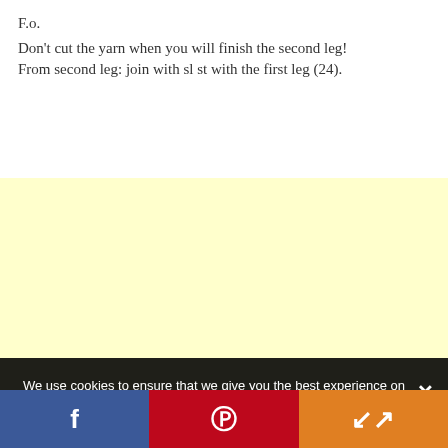F.o.
Don't cut the yarn when you will finish the second leg! From second leg: join with sl st with the first leg (24).
[Figure (other): Light yellow advertisement placeholder area]
We use cookies to ensure that we give you the best experience on our website. If you continue to use this site we will assume that you are happy with it.
Facebook | Pinterest | Share social bar